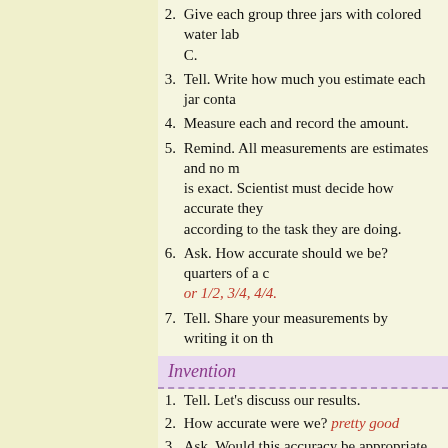2. Give each group three jars with colored water labeled A, B, C.
3. Tell. Write how much you estimate each jar conta...
4. Measure each and record the amount.
5. Remind. All measurements are estimates and no measurement is exact. Scientist must decide how accurate they need to be according to the task they are doing.
6. Ask. How accurate should we be? quarters of a cup or 1/2, 3/4, 4/4.
7. Tell. Share your measurements by writing it on th...
Invention
1. Tell. Let's discuss our results.
2. How accurate were we? pretty good
3. Ask. Would this accuracy be appropriate for what measure? baking a cake, making medicine in a pharmacy, measuring plant food, putting oil in a car… .
4. Ask. Where could you use what you learned?
5. Ask. What is a standard unit of measure?
6. Ask. What did you measure? capacity, liquid, liquid volume
7. As in the previous activity. Suggest different kinds of things to measure and ask if they should use a standard measurement or not and if so what kind of measurement and wh...